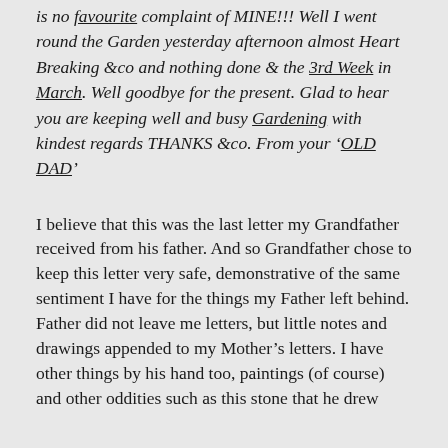is no favourite complaint of MINE!!! Well I went round the Garden yesterday afternoon almost Heart Breaking &co and nothing done & the 3rd Week in March. Well goodbye for the present. Glad to hear you are keeping well and busy Gardening with kindest regards THANKS &co. From your 'OLD DAD'
I believe that this was the last letter my Grandfather received from his father. And so Grandfather chose to keep this letter very safe, demonstrative of the same sentiment I have for the things my Father left behind. Father did not leave me letters, but little notes and drawings appended to my Mother's letters. I have other things by his hand too, paintings (of course) and other oddities such as this stone that he drew